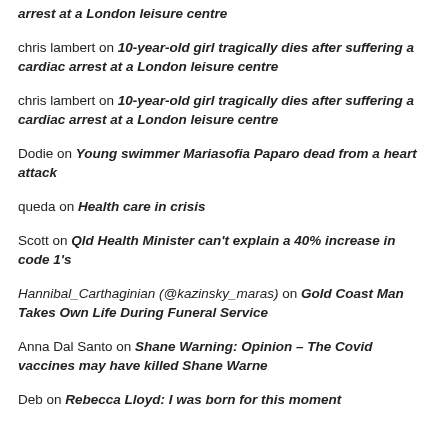arrest at a London leisure centre
chris lambert on 10-year-old girl tragically dies after suffering a cardiac arrest at a London leisure centre
chris lambert on 10-year-old girl tragically dies after suffering a cardiac arrest at a London leisure centre
Dodie on Young swimmer Mariasofia Paparo dead from a heart attack
queda on Health care in crisis
Scott on Qld Health Minister can't explain a 40% increase in code 1's
Hannibal_Carthaginian (@kazinsky_maras) on Gold Coast Man Takes Own Life During Funeral Service
Anna Dal Santo on Shane Warning: Opinion – The Covid vaccines may have killed Shane Warne
Deb on Rebecca Lloyd: I was born for this moment